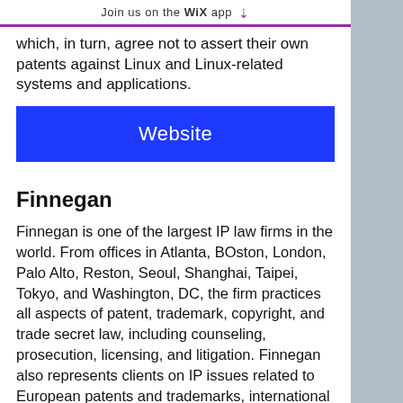Join us on the WiX app ↓
which, in turn, agree not to assert their own patents against Linux and Linux-related systems and applications.
[Figure (other): Blue 'Website' button]
Finnegan
Finnegan is one of the largest IP law firms in the world. From offices in Atlanta, BOston, London, Palo Alto, Reston, Seoul, Shanghai, Taipei, Tokyo, and Washington, DC, the firm practices all aspects of patent, trademark, copyright, and trade secret law, including counseling, prosecution, licensing, and litigation. Finnegan also represents clients on IP issues related to European patents and trademarks, international trade,